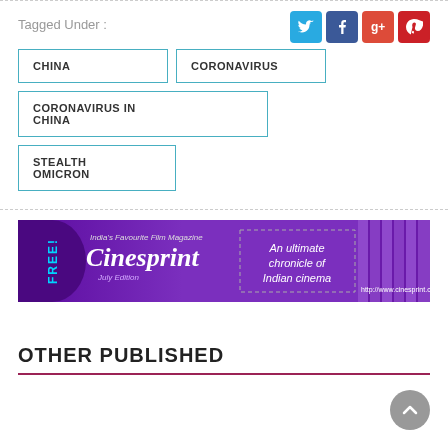Tagged Under :
CHINA
CORONAVIRUS
CORONAVIRUS IN CHINA
STEALTH OMICRON
[Figure (infographic): Cinesprint magazine advertisement banner — India's Favourite Film Magazine, An ultimate chronicle of Indian cinema, July Edition, http://www.cinesprint.com]
OTHER PUBLISHED